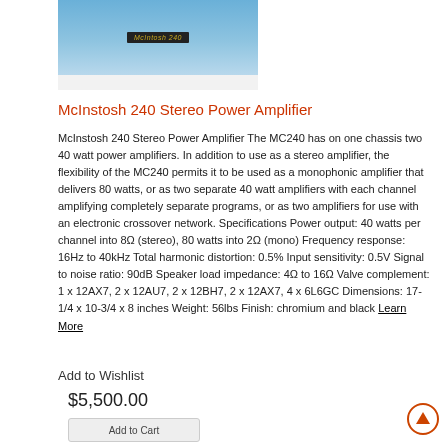[Figure (photo): Photo of McIntosh 240 Stereo Power Amplifier showing the device label on a dark chassis with gold accents against a blue background]
McInstosh 240 Stereo Power Amplifier
McInstosh 240 Stereo Power Amplifier The MC240 has on one chassis two 40 watt power amplifiers. In addition to use as a stereo amplifier, the flexibility of the MC240 permits it to be used as a monophonic amplifier that delivers 80 watts, or as two separate 40 watt amplifiers with each channel amplifying completely separate programs, or as two amplifiers for use with an electronic crossover network. Specifications Power output: 40 watts per channel into 8Ω (stereo), 80 watts into 2Ω (mono) Frequency response: 16Hz to 40kHz Total harmonic distortion: 0.5% Input sensitivity: 0.5V Signal to noise ratio: 90dB Speaker load impedance: 4Ω to 16Ω Valve complement: 1 x 12AX7, 2 x 12AU7, 2 x 12BH7, 2 x 12AX7, 4 x 6L6GC Dimensions: 17-1/4 x 10-3/4 x 8 inches Weight: 56lbs Finish: chromium and black Learn More
Add to Wishlist
$5,500.00